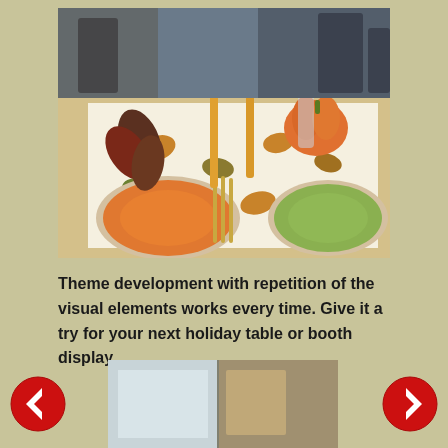[Figure (photo): A festive autumn/Thanksgiving table setting with orange and green plates, candles, pumpkin centerpiece, autumn leaves, and a floral tablecloth with fall colors]
Theme development with repetition of the visual elements works every time. Give it a try for your next holiday table or booth display.
[Figure (photo): Bottom thumbnail image showing a partial view of what appears to be a booth or table display]